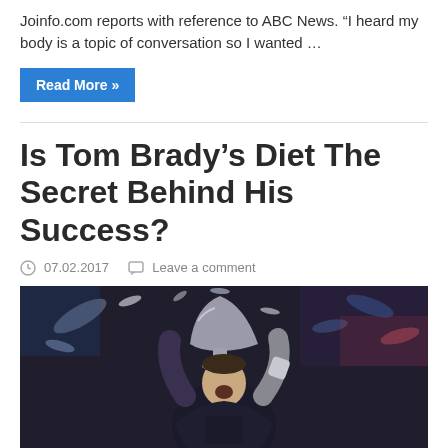Joinfo.com reports with reference to ABC News. “I heard my body is a topic of conversation so I wanted …
Read More »
Is Tom Brady’s Diet The Secret Behind His Success?
07.02.2017   Leave a comment
[Figure (photo): Tom Brady holding trophy aloft, celebrating, with confetti falling around him]
A loyal Patriots fan, Timothy Caulfield